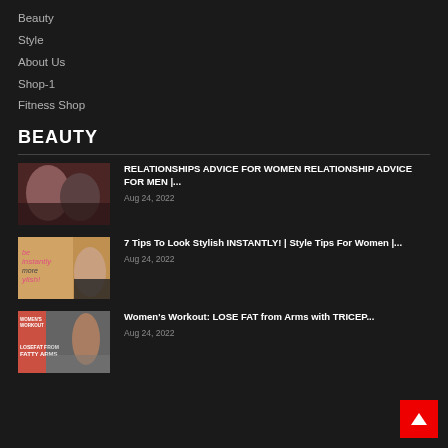Beauty
Style
About Us
Shop-1
Fitness Shop
BEAUTY
RELATIONSHIPS ADVICE FOR WOMEN RELATIONSHIP ADVICE FOR MEN |...
Aug 24, 2022
7 Tips To Look Stylish INSTANTLY! | Style Tips For Women |...
Aug 24, 2022
Women's Workout: LOSE FAT from Arms with TRICEP...
Aug 24, 2022